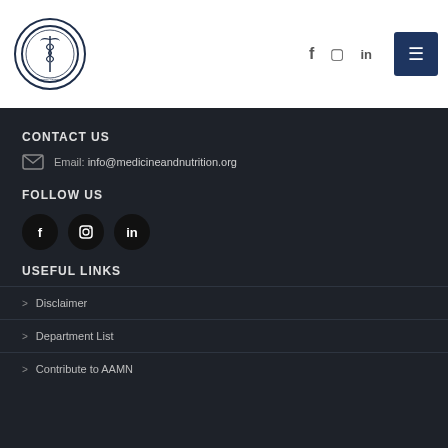[Figure (logo): American Academy of Medicine & Nutrition circular logo with caduceus symbol]
Social media icons (Facebook, Instagram, LinkedIn) and hamburger menu button
CONTACT US
Email: info@medicineandnutrition.org
FOLLOW US
[Figure (infographic): Three social media circular icon buttons: Facebook, Instagram, LinkedIn]
USEFUL LINKS
Disclaimer
Department List
Contribute to AAMN